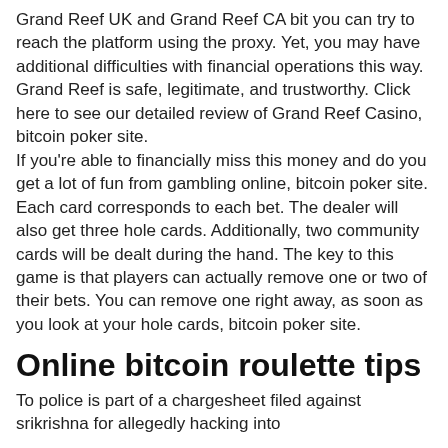Grand Reef UK and Grand Reef CA bit you can try to reach the platform using the proxy. Yet, you may have additional difficulties with financial operations this way. Grand Reef is safe, legitimate, and trustworthy. Click here to see our detailed review of Grand Reef Casino, bitcoin poker site.
If you're able to financially miss this money and do you get a lot of fun from gambling online, bitcoin poker site.
Each card corresponds to each bet. The dealer will also get three hole cards. Additionally, two community cards will be dealt during the hand. The key to this game is that players can actually remove one or two of their bets. You can remove one right away, as soon as you look at your hole cards, bitcoin poker site.
Online bitcoin roulette tips
To police is part of a chargesheet filed against srikrishna for allegedly hacking into